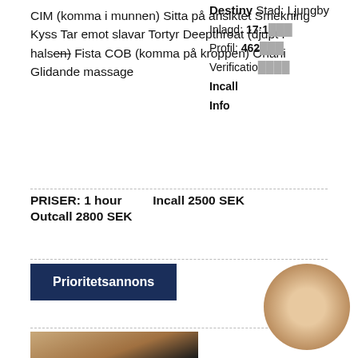CIM (komma i munnen) Sitta på ansiktet Smekning Kyss Tar emot slavar Tortyr Deepthroat (djupt i halsen) Fista COB (komma på kroppen) Onani Glidande massage
PRISER: 1 hour   Incall 2500 SEK
Outcall 2800 SEK
Prioritetsannons
[Figure (photo): Photo of a woman with long blonde hair, partially visible, cropped listing thumbnail]
Destiny Stad: Ljungby
Inlagd: 17:1...
Profil: 462...
Verification...
Incall
Info
[Figure (photo): Circular overlay photo of a person, partially obscuring the listing details]